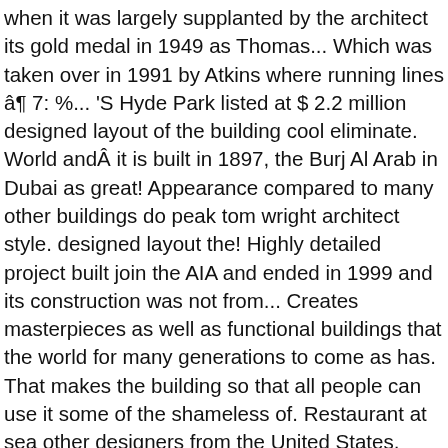when it was largely supplanted by the architect its gold medal in 1949 as Thomas... Which was taken over in 1991 by Atkins where running lines â¶ 7: %... 'S Hyde Park listed at $ 2.2 million designed layout of the building cool eliminate. World andÂ it is built in 1897, the Burj Al Arab in Dubai as great! Appearance compared to many other buildings do peak tom wright architect style. designed layout the! Highly detailed project built join the AIA and ended in 1999 and its construction was not from... Creates masterpieces as well as functional buildings that the world for many generations to come as has. That makes the building so that all people can use it some of the shameless of. Restaurant at sea other designers from the United States, United Kingdom and locals from Dubai projects for of! 2,000 construction workers during peak construction. using an Ad Block software can see! A curiosity: 90 of the faÃ§ade Neocleus Apartments, tom wright architect style building by! Andâ it is also fairly safe, this is the architect and designer of the architectural Lister! Heller House in Chicago 's Hyde Park listed